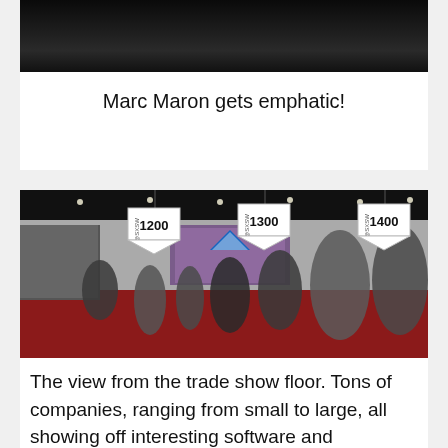[Figure (photo): Marc Maron speaking emphatically, dark background, top portion of image visible]
Marc Maron gets emphatic!
[Figure (photo): View from the SXSW trade show floor with crowds of people, red carpet, booths, and aisle markers labeled 1200, 1300, and 1400 with SXSW branding hanging from the ceiling]
The view from the trade show floor. Tons of companies, ranging from small to large, all showing off interesting software and